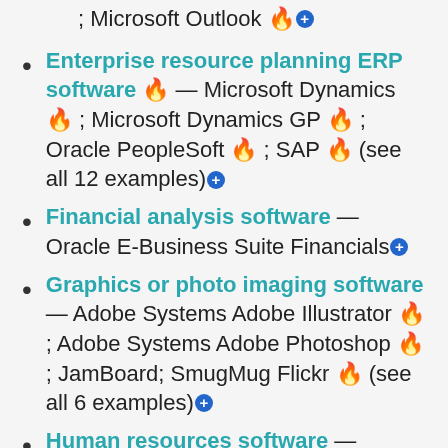; Microsoft Outlook 🔥⊕
Enterprise resource planning ERP software 🔥 — Microsoft Dynamics 🔥 ; Microsoft Dynamics GP 🔥 ; Oracle PeopleSoft 🔥 ; SAP 🔥 (see all 12 examples)⊕
Financial analysis software — Oracle E-Business Suite Financials⊕
Graphics or photo imaging software — Adobe Systems Adobe Illustrator 🔥 ; Adobe Systems Adobe Photoshop 🔥 ; JamBoard; SmugMug Flickr 🔥 (see all 6 examples)⊕
Human resources software — Human